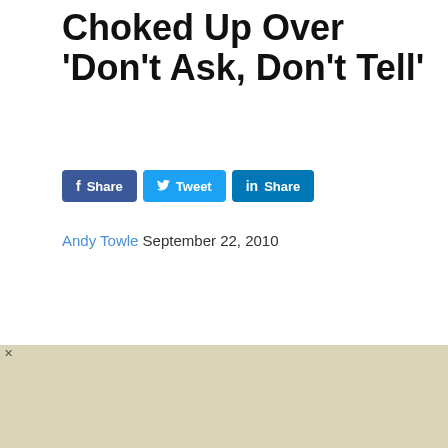Choked Up Over 'Don't Ask, Don't Tell'
Share  Tweet  Share
Andy Towle September 22, 2010